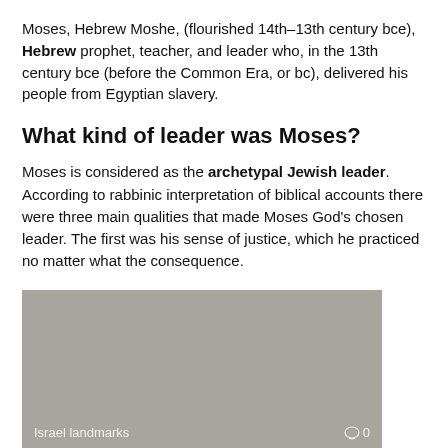Moses, Hebrew Moshe, (flourished 14th–13th century bce), Hebrew prophet, teacher, and leader who, in the 13th century bce (before the Common Era, or bc), delivered his people from Egyptian slavery.
What kind of leader was Moses?
Moses is considered as the archetypal Jewish leader. According to rabbinic interpretation of biblical accounts there were three main qualities that made Moses God's chosen leader. The first was his sense of justice, which he practiced no matter what the consequence.
[Figure (photo): A grayish-toned photo placeholder showing Israel landmarks, with a comment icon and '0' count in the bottom right corner.]